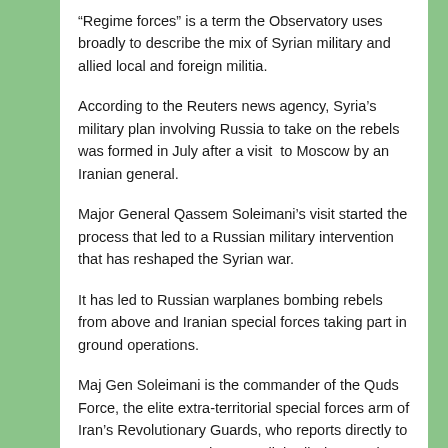“Regime forces” is a term the Observatory uses broadly to describe the mix of Syrian military and allied local and foreign militia.
According to the Reuters news agency, Syria’s military plan involving Russia to take on the rebels was formed in July after a visit to Moscow by an Iranian general.
Major General Qassem Soleimani’s visit started the process that led to a Russian military intervention that has reshaped the Syrian war.
It has led to Russian warplanes bombing rebels from above and Iranian special forces taking part in ground operations.
Maj Gen Soleimani is the commander of the Quds Force, the elite extra-territorial special forces arm of Iran’s Revolutionary Guards, who reports directly to Iran’s Supreme Leader, Ayatollah Ali Khamenei.